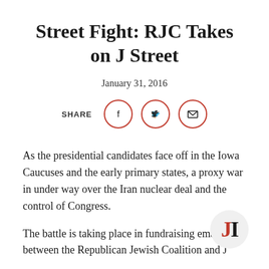Street Fight: RJC Takes on J Street
January 31, 2016
[Figure (infographic): Share icons: Facebook, Twitter, Email — three red-outlined circles with social media symbols, preceded by the label SHARE]
As the presidential candidates face off in the Iowa Caucuses and the early primary states, a proxy war in under way over the Iran nuclear deal and the control of Congress.
The battle is taking place in fundraising emails between the Republican Jewish Coalition and J
[Figure (logo): JI logo — letter J in red and letter I in black on a light gray circle background]